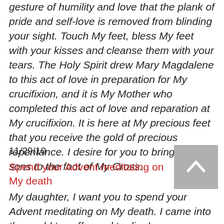gesture of humility and love that the plank of pride and self-love is removed from blinding your sight. Touch My feet, bless My feet with your kisses and cleanse them with your tears. The Holy Spirit drew Mary Magdalene to this act of love in preparation for My crucifixion, and it is My Mother who completed this act of love and reparation at My crucifixion. It is here at My precious feet that you receive the gold of precious repentance. I desire for you to bring My sons to the foot of My Cross.
11/29/10
Spend your Advent meditating on My death
My daughter, I want you to spend your Advent meditating on My death. I came into the world to suffer and to die. I